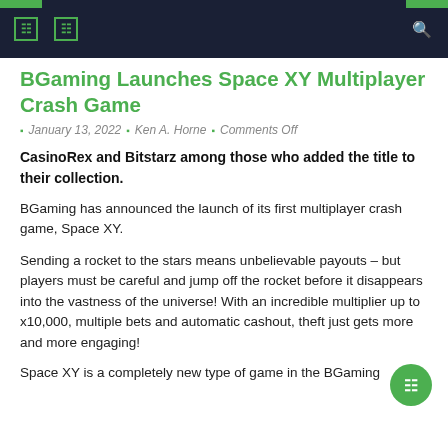BGaming Launches Space XY Multiplayer Crash Game
BGaming Launches Space XY Multiplayer Crash Game
January 13, 2022 | Ken A. Horne | Comments Off
CasinoRex and Bitstarz among those who added the title to their collection.
BGaming has announced the launch of its first multiplayer crash game, Space XY.
Sending a rocket to the stars means unbelievable payouts – but players must be careful and jump off the rocket before it disappears into the vastness of the universe! With an incredible multiplier up to x10,000, multiple bets and automatic cashout, theft just gets more and more engaging!
Space XY is a completely new type of game in the BGaming